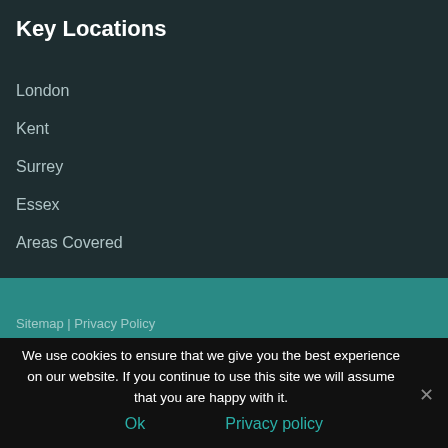Key Locations
London
Kent
Surrey
Essex
Areas Covered
Sitemap | Privacy Policy
We use cookies to ensure that we give you the best experience on our website. If you continue to use this site we will assume that you are happy with it.
Ok
Privacy policy